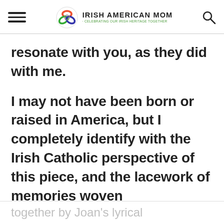Irish American Mom - Celebrating Our Irish Heritage Together
resonate with you, as they did with me.
I may not have been born or raised in America, but I completely identify with the Irish Catholic perspective of this piece, and the lacework of memories woven
together by Joan's lyrical